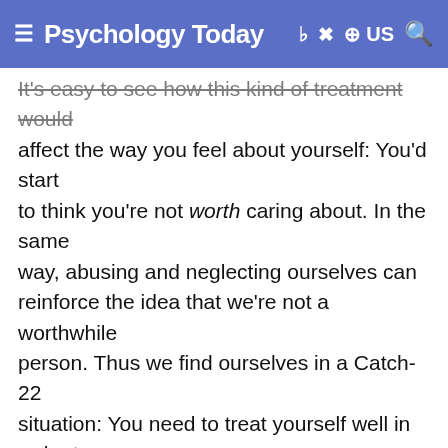Psychology Today — US
It's easy to see how this kind of treatment would affect the way you feel about yourself: You'd start to think you're not worth caring about. In the same way, abusing and neglecting ourselves can reinforce the idea that we're not a worthwhile person. Thus we find ourselves in a Catch-22 situation: You need to treat yourself well in order to feel that you have value, but you need to recognize your value in order to start treating yourself well. No wonder it can be so hard to change our negative sentiments about ourselves.
How can we break out of this cycle? It's very difficult to force ourselves to feel a certain way